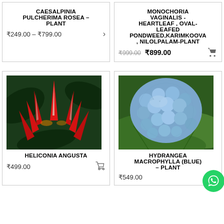CAESALPINIA PULCHERIMA ROSEA – PLANT
₹249.00 – ₹799.00
MONOCHORIA VAGINALIS - HEARTLEAF , OVAL-LEAFED PONDWEED,KARIMKOOVA , NILOLPALAM-PLANT
₹999.00 ₹899.00
[Figure (photo): Heliconia angusta plant with red spike-like flowers against dark green foliage]
HELICONIA ANGUSTA
₹499.00
[Figure (photo): Hydrangea macrophylla blue flower close-up with green leaves]
HYDRANGEA MACROPHYLLA (BLUE) – PLANT
₹549.00